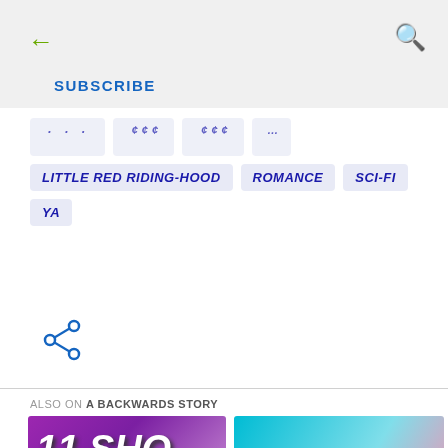← SUBSCRIBE 🔍
[partially visible tag row]
LITTLE RED RIDING-HOOD | ROMANCE | SCI-FI
YA
[Figure (infographic): Share icon (network share symbol) in blue]
ALSO ON A BACKWARDS STORY
[Figure (photo): Purple gradient thumbnail with large white graffiti-style text starting with '11 SHO...']
[Figure (photo): Teal/pink gradient thumbnail with black text '10 THIN...']